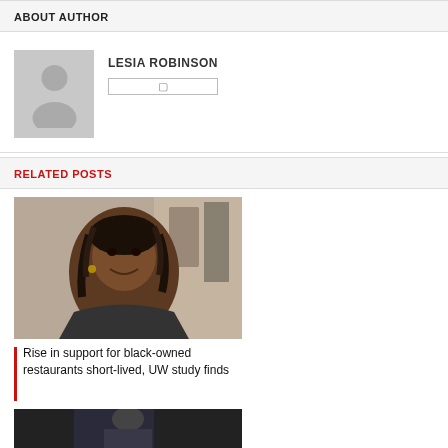ABOUT AUTHOR
[Figure (illustration): Gray placeholder avatar silhouette icon for author profile]
LESIA ROBINSON
RELATED POSTS
[Figure (photo): Photo of a smiling woman with braided hair in what appears to be an office or restaurant setting]
SEPTEMBER 3, 2022   0
Rise in support for black-owned restaurants short-lived, UW study finds
[Figure (photo): Partially visible photo at the bottom of the page, dark tones showing a person in a suit]